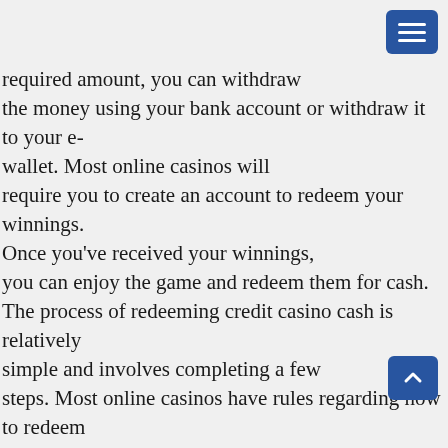[Figure (other): Blue hamburger menu button in top-right corner]
required amount, you can withdraw the money using your bank account or withdraw it to your e-wallet. Most online casinos will require you to create an account to redeem your winnings. Once you've received your winnings, you can enjoy the game and redeem them for cash. The process of redeeming credit casino cash is relatively simple and involves completing a few steps. Most online casinos have rules regarding how to redeem these credits. Depending on the casino, players can use their credit cards to make wagers and cash out the money. The amount that they can spend during a session can be limited to a certain amount. Other limits may include the number of sessions they can complete and the maximum virtual cashback bonus that they
[Figure (other): Blue scroll-to-top button with upward chevron arrow, bottom-right area]